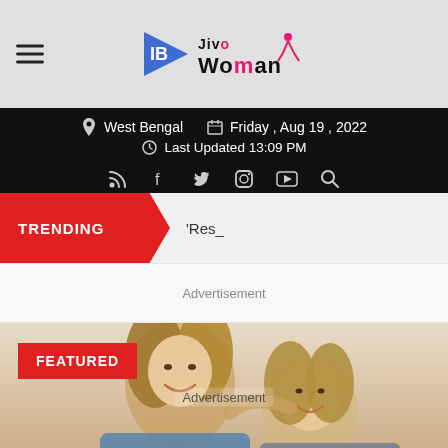Jivo Woman — West Bengal | Friday, Aug 19, 2022 | Last Updated 13:09 PM
TRENDING — 'Res_
Advertisement
[Figure (photo): Two women smiling and hugging, with a FEATURED label overlay and Advertisement text]
Advertisement